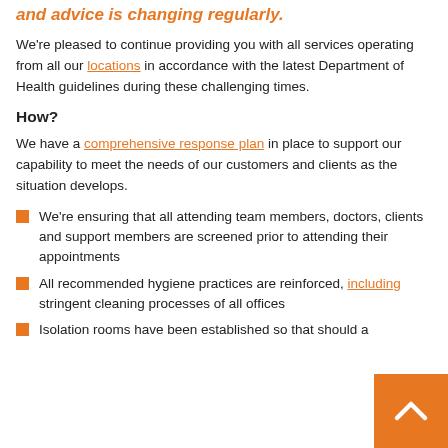and advice is changing regularly.
We're pleased to continue providing you with all services operating from all our locations in accordance with the latest Department of Health guidelines during these challenging times.
How?
We have a comprehensive response plan in place to support our capability to meet the needs of our customers and clients as the situation develops.
We're ensuring that all attending team members, doctors, clients and support members are screened prior to attending their appointments
All recommended hygiene practices are reinforced, including stringent cleaning processes of all offices
Isolation rooms have been established so that should a